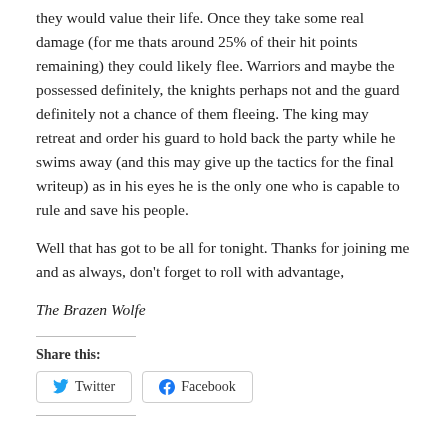they would value their life. Once they take some real damage (for me thats around 25% of their hit points remaining) they could likely flee. Warriors and maybe the possessed definitely, the knights perhaps not and the guard definitely not a chance of them fleeing. The king may retreat and order his guard to hold back the party while he swims away (and this may give up the tactics for the final writeup) as in his eyes he is the only one who is capable to rule and save his people.
Well that has got to be all for tonight. Thanks for joining me and as always, don't forget to roll with advantage,
The Brazen Wolfe
Share this:
Twitter Facebook